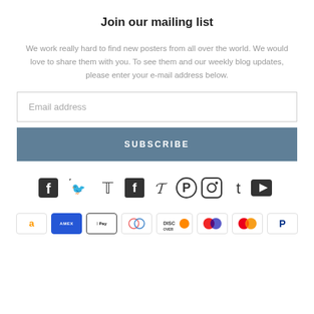Join our mailing list
We work really hard to find new posters from all over the world. We would love to share them with you. To see them and our weekly blog updates, please enter your e-mail address below.
[Figure (screenshot): Email address input field]
[Figure (screenshot): SUBSCRIBE button]
[Figure (infographic): Social media icons: Facebook, Twitter, Pinterest, Instagram, Tumblr, YouTube]
[Figure (infographic): Payment method icons: Amazon, American Express, Apple Pay, Diners Club, Discover, Maestro, Mastercard, PayPal]